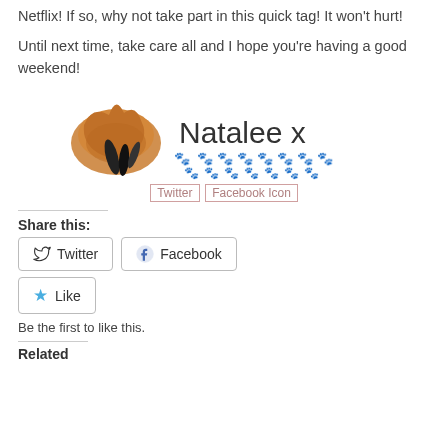Netflix! If so, why not take part in this quick tag! It won't hurt!
Until next time, take care all and I hope you're having a good weekend!
[Figure (illustration): Signature image with a fox paw illustration, handwritten 'Natalee x' text, and decorative paw print icons]
[Figure (illustration): Twitter and Facebook social media icon links]
Share this:
Twitter button
Facebook button
Like button
Be the first to like this.
Related